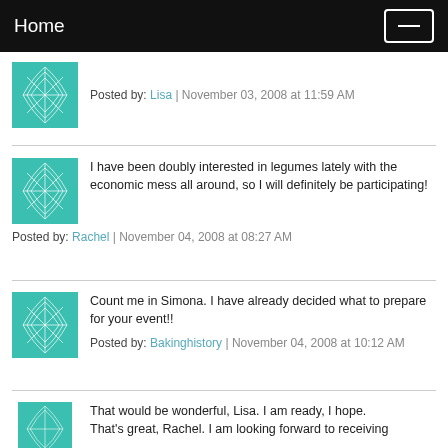Home
Posted by: Lisa | November 03, 2008 at 11:59 AM
I have been doubly interested in legumes lately with the economic mess all around, so I will definitely be participating!
Posted by: Rachel | November 04, 2008 at 08:27 AM
Count me in Simona. I have already decided what to prepare for your event!!
Posted by: Bakinghistory | November 04, 2008 at 10:12 AM
That would be wonderful, Lisa. I am ready, I hope.
Thats great, Rachel. I am looking forward to receiving